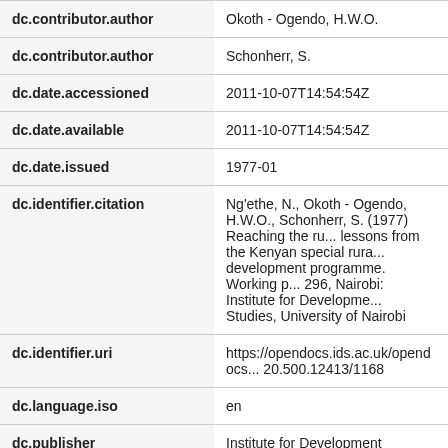| Field | Value |
| --- | --- |
| dc.contributor.author | Okoth - Ogendo, H.W.O. |
| dc.contributor.author | Schonherr, S. |
| dc.date.accessioned | 2011-10-07T14:54:54Z |
| dc.date.available | 2011-10-07T14:54:54Z |
| dc.date.issued | 1977-01 |
| dc.identifier.citation | Ng'ethe, N., Okoth - Ogendo, H.W.O., Schonherr, S. (1977) Reaching the ru... lessons from the Kenyan special rura... development programme. Working p... 296, Nairobi: Institute for Developme... Studies, University of Nairobi |
| dc.identifier.uri | https://opendocs.ids.ac.uk/opendocs... 20.500.12413/1168 |
| dc.language.iso | en |
| dc.publisher | Institute for Development Studies, U... of Nairobi |